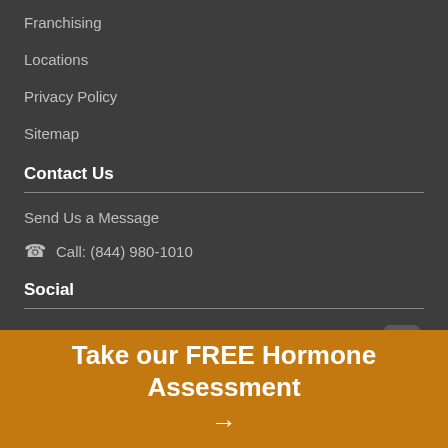Franchising
Locations
Privacy Policy
Sitemap
Contact Us
Send Us a Message
Call: (844) 980-1010
Social
[Figure (logo): Facebook icon button in a rounded square]
Take our FREE Hormone Assessment →